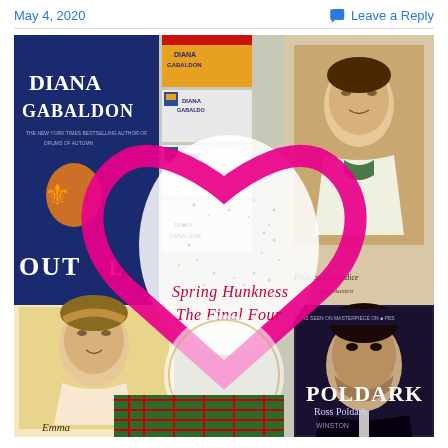May 4, 2020    Leave a Reply
[Figure (photo): Collage of book covers (Diana Gabaldon Outlander series, Pride and Prejudice by Jane Austen, Emma, Poldark Ross Poldark) arranged around a glittery heart-shaped decoration. A large drawn pink/magenta heart outline overlays the image with cursive text reading 'Spring Hunkness The Final Four' in the center.]